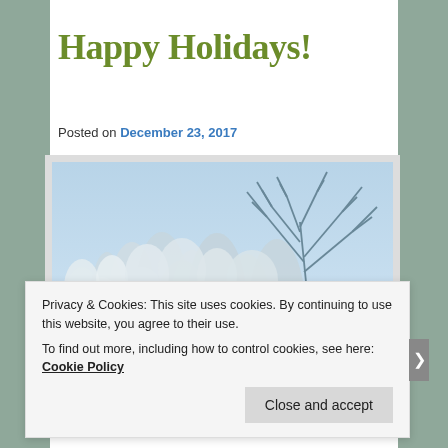Happy Holidays!
Posted on December 23, 2017
[Figure (photo): Winter nature photo showing frosted grasses/reeds with bare tree branches against a blue sky, with a small red berry or flower visible on the branch]
Privacy & Cookies: This site uses cookies. By continuing to use this website, you agree to their use.
To find out more, including how to control cookies, see here: Cookie Policy
Close and accept